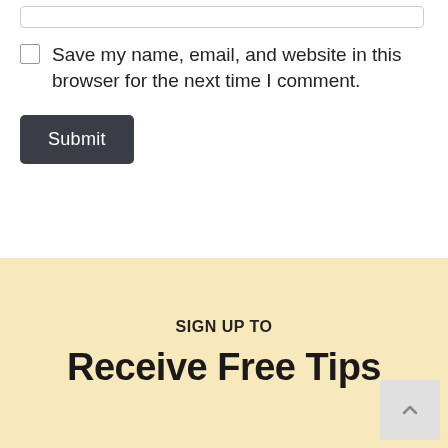Save my name, email, and website in this browser for the next time I comment.
Submit
SIGN UP TO
Receive Free Tips